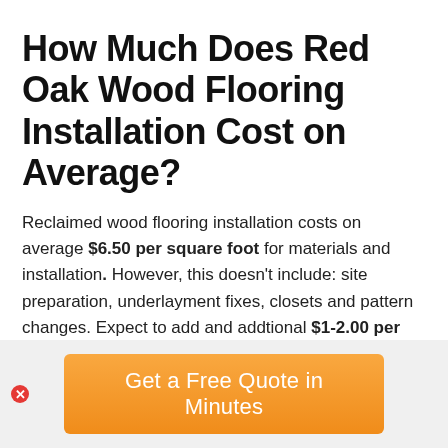How Much Does Red Oak Wood Flooring Installation Cost on Average?
Reclaimed wood flooring installation costs on average $6.50 per square foot for materials and installation. However, this doesn't include: site preparation, underlayment fixes, closets and pattern changes. Expect to add and addtional $1-2.00 per square ft.
[Figure (other): Call-to-action button reading 'Get a Free Quote in Minutes' with orange gradient background, on a light gray footer bar. A small red error icon appears at the left.]